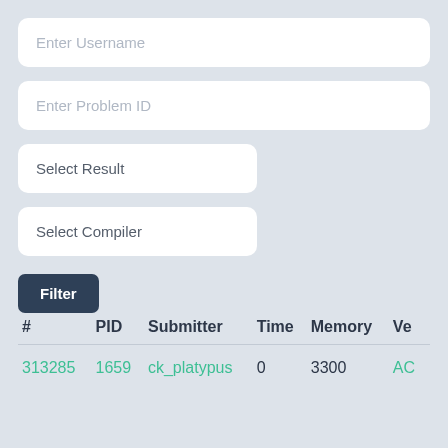Enter Username
Enter Problem ID
Select Result
Select Compiler
Filter
| # | PID | Submitter | Time | Memory | Ve |
| --- | --- | --- | --- | --- | --- |
| 313285 | 1659 | ck_platypus | 0 | 3300 | AC |